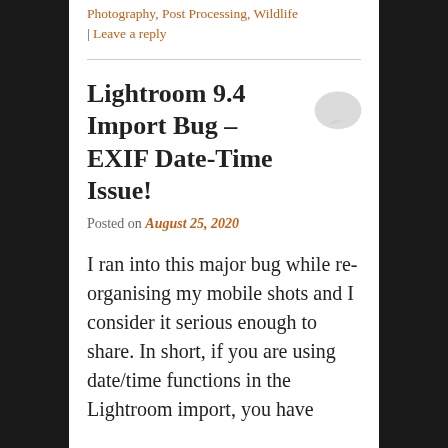Photography, Post Processing, Wildlife | Leave a reply
Lightroom 9.4 Import Bug – EXIF Date-Time Issue!
Posted on August 25, 2020
I ran into this major bug while re-organising my mobile shots and I consider it serious enough to share. In short, if you are using date/time functions in the Lightroom import, you have